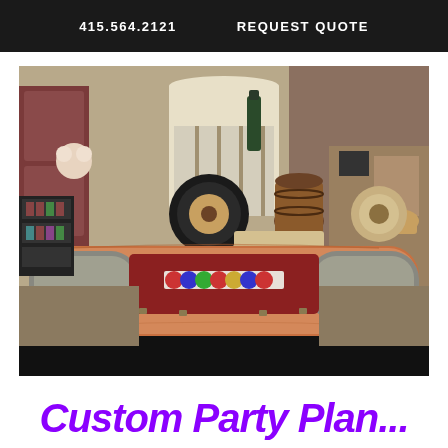415.564.2121    REQUEST QUOTE
[Figure (photo): A craps or poker table with a wooden surround and dark felt playing surface, set up in what appears to be a winery or event space. Behind the table are decorative wine barrels, wine bottles, and signage. The table has gray padded rails on both ends and poker chips in the center. A dark skirt covers the table base.]
Custom Party Plan...